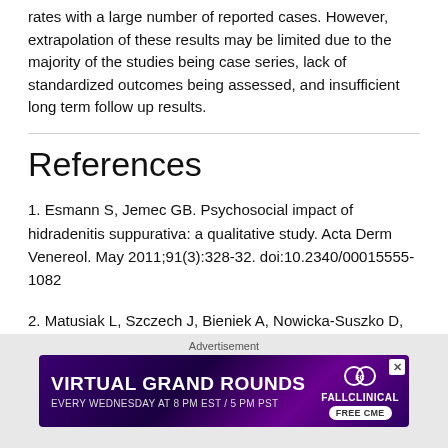rates with a large number of reported cases. However, extrapolation of these results may be limited due to the majority of the studies being case series, lack of standardized outcomes being assessed, and insufficient long term follow up results.
References
1. Esmann S, Jemec GB. Psychosocial impact of hidradenitis suppurativa: a qualitative study. Acta Derm Venereol. May 2011;91(3):328-32. doi:10.2340/00015555-1082
2. Matusiak L, Szczech J, Bieniek A, Nowicka-Suszko D, Szepietowski JC. Increased interleukin (IL)-17 serum levels in patients with hidradenitis suppurativa: Implications for treatment with anti-IL-17 agents. Journal of the American Academy of Dermatology. Apr 2017;76(4):670-675. doi:10.1016/j.jaad.2016.10.042
[Figure (other): Advertisement banner for VIRTUAL GRAND ROUNDS - Every Wednesday at 8 PM EST / 5 PM PST, FallClinical, Free CME]